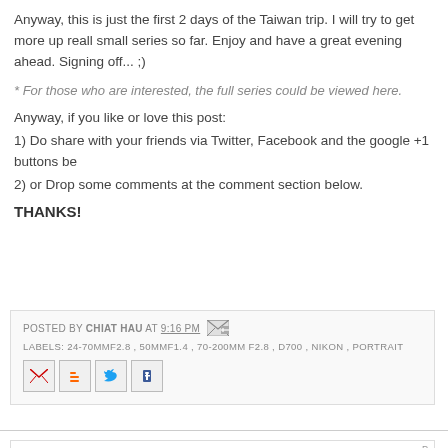Anyway, this is just the first 2 days of the Taiwan trip. I will try to get more up reall small series so far. Enjoy and have a great evening ahead. Signing off... ;)
* For those who are interested, the full series could be viewed here.
Anyway, if you like or love this post:
1) Do share with your friends via Twitter, Facebook and the google +1 buttons be
2) or Drop some comments at the comment section below.
THANKS!
POSTED BY CHIAT HAU AT 9:16 PM
LABELS: 24-70MMF2.8 , 50MMF1.4 , 70-200MM F2.8 , D700 , NIKON , PORTRAIT